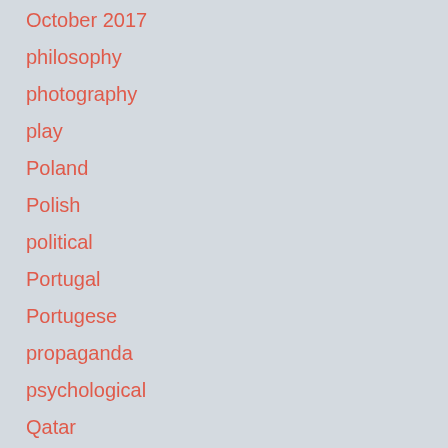October 2017
philosophy
photography
play
Poland
Polish
political
Portugal
Portugese
propaganda
psychological
Qatar
rock